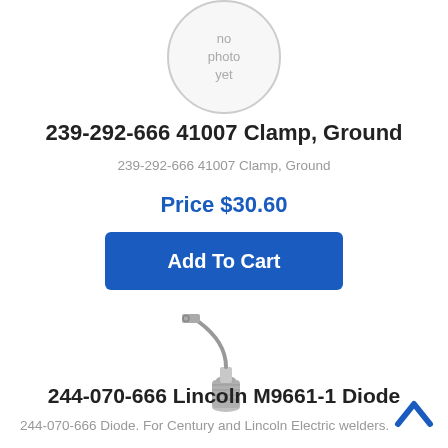[Figure (illustration): Circular placeholder image with text 'no photo yet' and grey border]
239-292-666 41007 Clamp, Ground
239-292-666 41007 Clamp, Ground
Price $30.60
Add To Cart
[Figure (photo): Product photo of a metallic diode component with curved wire lead and threaded body]
244-070-666 Lincoln M9661-1 Diode
244-070-666 Diode. For Century and Lincoln Electric welders.